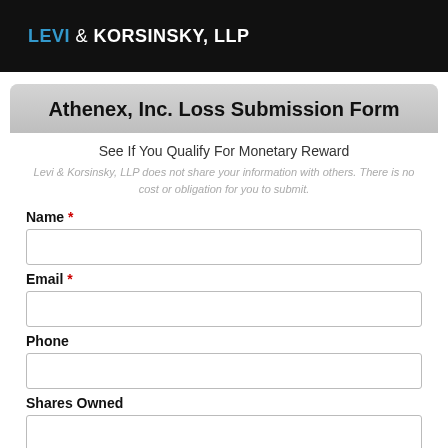LEVI & KORSINSKY, LLP
Athenex, Inc. Loss Submission Form
See If You Qualify For Monetary Reward
Levi & Korsinsky, LLP does not share your information with others. There is no cost or obligation for you to submit.
Name *
Email *
Phone
Shares Owned